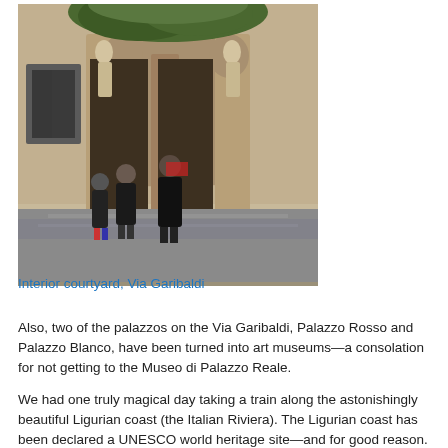[Figure (photo): Interior courtyard of a palazzo on Via Garibaldi. Three people dressed in dark clothing stand on a wet stone plaza in front of an ornate baroque architectural facade with large stone arches, sculptural figures, and lush greenery growing above. The scene appears to be on a rainy day.]
Interior courtyard, Via Garibaldi
Also, two of the palazzos on the Via Garibaldi, Palazzo Rosso and Palazzo Blanco, have been turned into art museums—a consolation for not getting to the Museo di Palazzo Reale.
We had one truly magical day taking a train along the astonishingly beautiful Ligurian coast (the Italian Riviera). The Ligurian coast has been declared a UNESCO world heritage site—and for good reason. We stopped in the town of Portofino, once a sleepy fishing village, now a tourist